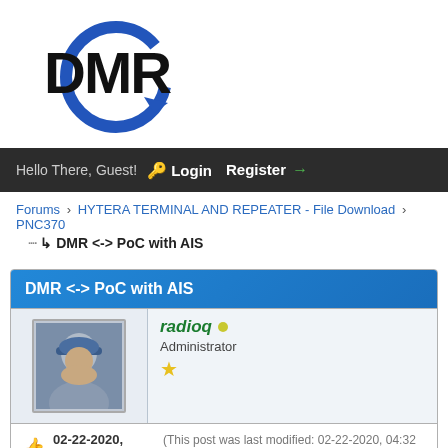[Figure (logo): DMR logo with circular blue arrow and bold black DMR text]
Hello There, Guest! 🔑 Login  Register →
Forums › HYTERA TERMINAL AND REPEATER - File Download › PNC370
DMR <-> PoC with AIS
DMR <-> PoC with AIS
radioq • Administrator ★
👍 02-22-2020, 04:27 PM (This post was last modified: 02-22-2020, 04:32 PM by radioq.)
Beta Version 5.7... connecting Hytera DMR Repeater with AIS (